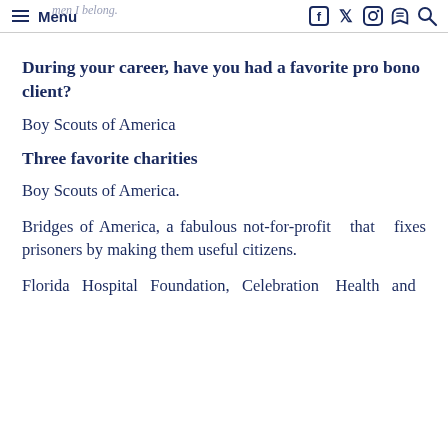Menu
During your career, have you had a favorite pro bono client?
Boy Scouts of America
Three favorite charities
Boy Scouts of America.
Bridges of America, a fabulous not-for-profit that fixes prisoners by making them useful citizens.
Florida Hospital Foundation, Celebration Health and